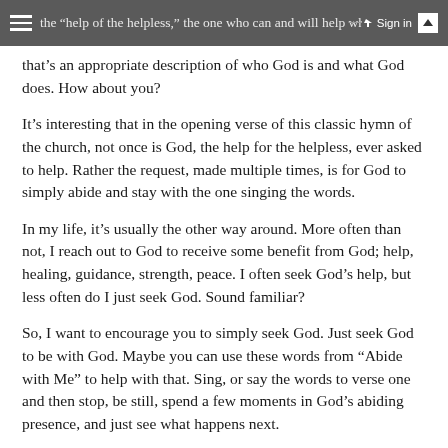the “help of the helpless,” the one who can and will help when all other helpers fail. In my life experience with God, that’s an appropriate description of who God is and what God does. How about you?
It’s interesting that in the opening verse of this classic hymn of the church, not once is God, the help for the helpless, ever asked to help. Rather the request, made multiple times, is for God to simply abide and stay with the one singing the words.
In my life, it’s usually the other way around. More often than not, I reach out to God to receive some benefit from God; help, healing, guidance, strength, peace. I often seek God’s help, but less often do I just seek God. Sound familiar?
So, I want to encourage you to simply seek God. Just seek God to be with God. Maybe you can use these words from “Abide with Me” to help with that. Sing, or say the words to verse one and then stop, be still, spend a few moments in God’s abiding presence, and just see what happens next.